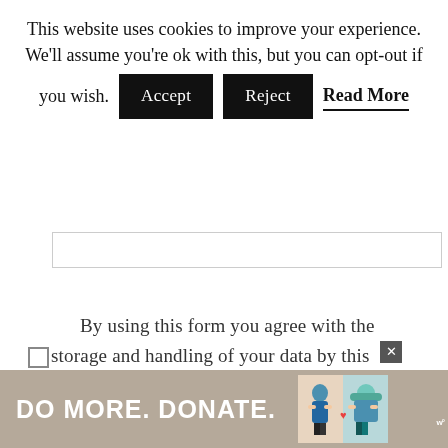This website uses cookies to improve your experience. We'll assume you're ok with this, but you can opt-out if you wish.   Accept   Reject   Read More
[Figure (screenshot): Form input field (text box outline)]
By using this form you agree with the storage and handling of your data by this website. *
POST COMMENT
This site uses Akismet to reduce spam. Learn
[Figure (infographic): Ad banner at bottom: DO MORE. DONATE. with charity illustration and close button]